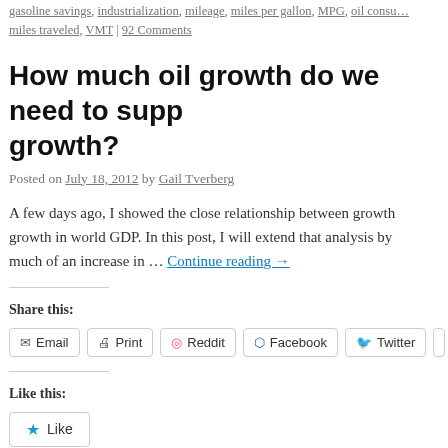gasoline savings, industrialization, mileage, miles per gallon, MPG, oil consumption, miles traveled, VMT | 92 Comments
How much oil growth do we need to support economic growth?
Posted on July 18, 2012 by Gail Tverberg
A few days ago, I showed the close relationship between growth in oil use and growth in world GDP. In this post, I will extend that analysis by … Continue reading →
Share this:
Email  Print  Reddit  Facebook  Twitter  Li…
Like this:
Like
2 bloggers like this.